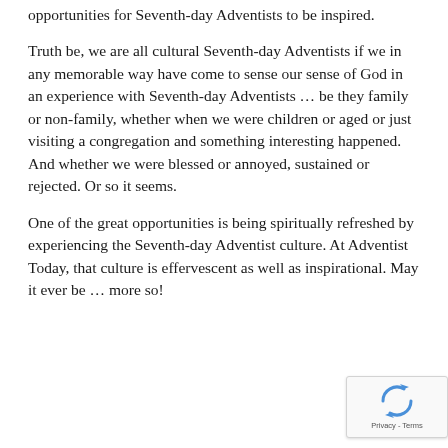opportunities for Seventh-day Adventists to be inspired.
Truth be, we are all cultural Seventh-day Adventists if we in any memorable way have come to sense our sense of God in an experience with Seventh-day Adventists … be they family or non-family, whether when we were children or aged or just visiting a congregation and something interesting happened. And whether we were blessed or annoyed, sustained or rejected. Or so it seems.
One of the great opportunities is being spiritually refreshed by experiencing the Seventh-day Adventist culture. At Adventist Today, that culture is effervescent as well as inspirational. May it ever be … more so!
[Figure (other): reCAPTCHA badge with spinning arrows icon and Privacy - Terms text]